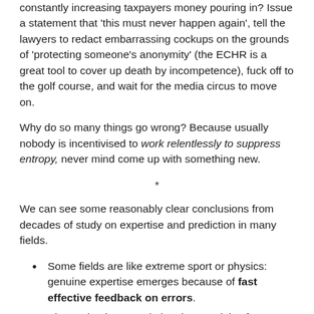constantly increasing taxpayers money pouring in? Issue a statement that 'this must never happen again', tell the lawyers to redact embarrassing cockups on the grounds of 'protecting someone's anonymity' (the ECHR is a great tool to cover up death by incompetence), fuck off to the golf course, and wait for the media circus to move on.
Why do so many things go wrong? Because usually nobody is incentivised to work relentlessly to suppress entropy, never mind come up with something new.
*
We can see some reasonably clear conclusions from decades of study on expertise and prediction in many fields.
Some fields are like extreme sport or physics: genuine expertise emerges because of fast effective feedback on errors.
Abstracting human wisdom into models often works